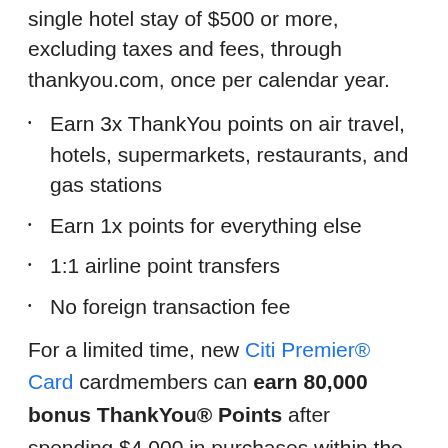single hotel stay of $500 or more, excluding taxes and fees, through thankyou.com, once per calendar year.
Earn 3x ThankYou points on air travel, hotels, supermarkets, restaurants, and gas stations
Earn 1x points for everything else
1:1 airline point transfers
No foreign transaction fee
For a limited time, new Citi Premier® Card cardmembers can earn 80,000 bonus ThankYou® Points after spending $4,000 in purchases within the first 3 months of account opening.